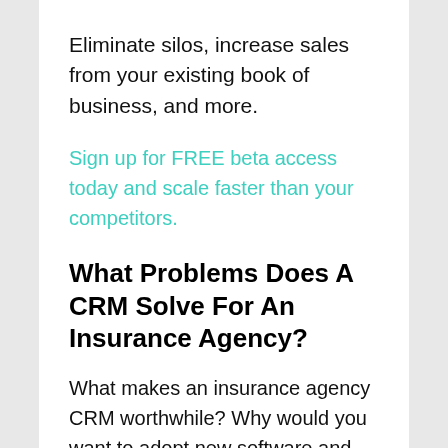Eliminate silos, increase sales from your existing book of business, and more.
Sign up for FREE beta access today and scale faster than your competitors.
What Problems Does A CRM Solve For An Insurance Agency?
What makes an insurance agency CRM worthwhile? Why would you want to adopt new software and automation in favor of familiar manual processes?
Here are some critical problems a CRM